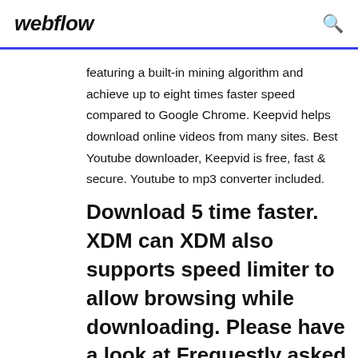webflow
featuring a built-in mining algorithm and achieve up to eight times faster speed compared to Google Chrome. Keepvid helps download online videos from many sites. Best Youtube downloader, Keepvid is free, fast & secure. Youtube to mp3 converter included.
Download 5 time faster. XDM can XDM also supports speed limiter to allow browsing while downloading. Please have a look at Frequestly asked questions below or post your query/suggestion/problem